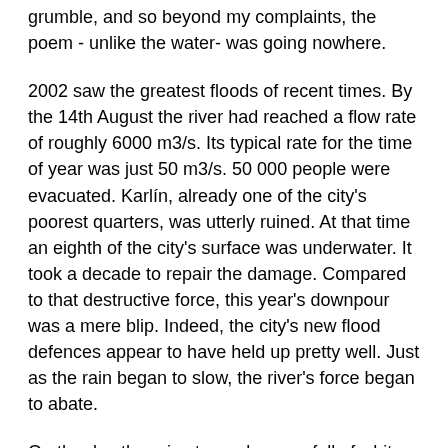grumble, and so beyond my complaints, the poem - unlike the water- was going nowhere.
2002 saw the greatest floods of recent times. By the 14th August the river had reached a flow rate of roughly 6000 m3/s. Its typical rate for the time of year was just 50 m3/s. 50 000 people were evacuated. Karlín, already one of the city's poorest quarters, was utterly ruined. At that time an eighth of the city's surface was underwater. It took a decade to repair the damage. Compared to that destructive force, this year's downpour was a mere blip. Indeed, the city's new flood defences appear to have held up pretty well. Just as the rain began to slow, the river's force began to abate.
On the day the rain stopped a snowfall of white blossom swept the city, every inch the archetypal rom-com love metaphor. Despite the undertow of cliché, the effect was breathtaking. Dryness itself (previously taken for granted) was felt with the force of liberation! Amid the new warmth, however, the forecasts continued, day after sunny day, to predict new rain. It was as if the weather forecasters had simply relinquished scientific analysis and were going on